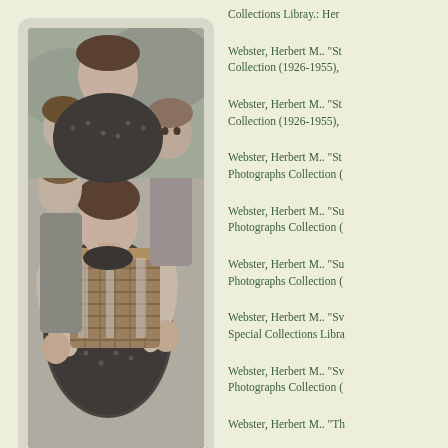[Figure (photo): Black and white photograph of a woman in a polka dot dress holding a wicker basket, with two children standing behind her.]
Collections Libray.: Her
Webster, Herbert M.. "St Collection (1926-1955),
Webster, Herbert M.. "St Collection (1926-1955),
Webster, Herbert M.. "St Photographs Collection (
Webster, Herbert M.. "Su Photographs Collection (
Webster, Herbert M.. "Su Photographs Collection (
Webster, Herbert M.. "Sv Special Collections Libra
Webster, Herbert M.. "Sv Photographs Collection (
Webster, Herbert M.. "Th